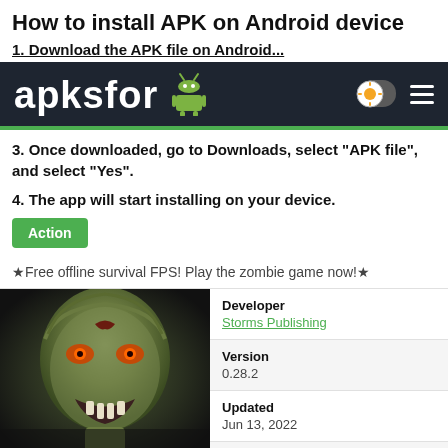How to install APK on Android device
3. Once downloaded, go to Downloads, select "APK file", and select "Yes".
4. The app will start installing on your device.
Action
★Free offline survival FPS! Play the zombie game now!★
[Figure (screenshot): Navigation bar with APKSFOR logo and android icon]
[Figure (photo): Zombie face image for game app]
| Field | Value |
| --- | --- |
| Developer | Storms Publishing |
| Version | 0.28.2 |
| Updated | Jun 13, 2022 |
| Requirements |  |